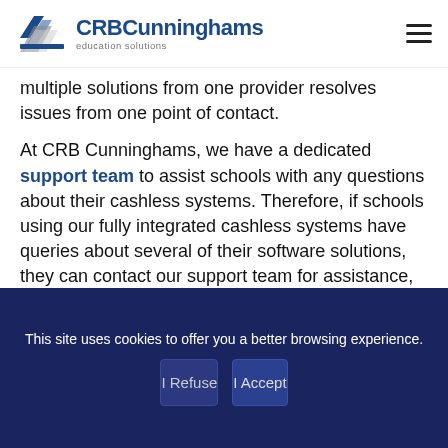CRB Cunninghams education solutions
multiple solutions from one provider resolves issues from one point of contact.
At CRB Cunninghams, we have a dedicated support team to assist schools with any questions about their cashless systems. Therefore, if schools using our fully integrated cashless systems have queries about several of their software solutions, they can contact our support team for assistance, saving time and enabling a straightforward resolution process.
This site uses cookies to offer you a better browsing experience.
I Refuse
I Accept